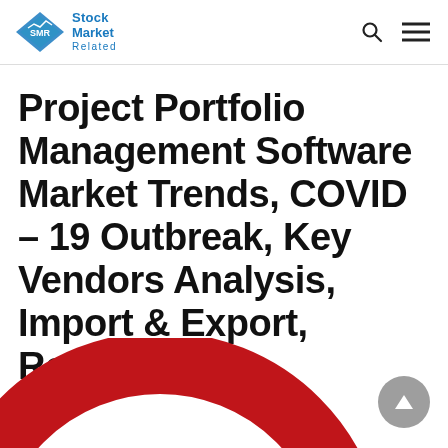Stock Market Related
Project Portfolio Management Software Market Trends, COVID – 19 Outbreak, Key Vendors Analysis, Import & Export, Revenue
[Figure (logo): Partial circular logo graphic in red and dark navy, visible at bottom of page]